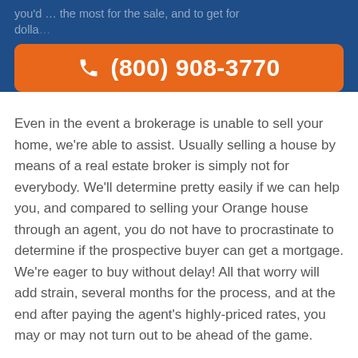you'd … dollars …
[Figure (other): Orange phone button with phone icon and number (800) 908-3770]
Even in the event a brokerage is unable to sell your home, we're able to assist. Usually selling a house by means of a real estate broker is simply not for everybody. We'll determine pretty easily if we can help you, and compared to selling your Orange house through an agent, you do not have to procrastinate to determine if the prospective buyer can get a mortgage. We're eager to buy without delay! All that worry will add strain, several months for the process, and at the end after paying the agent's highly-priced rates, you may or may not turn out to be ahead of the game.
Take away the …